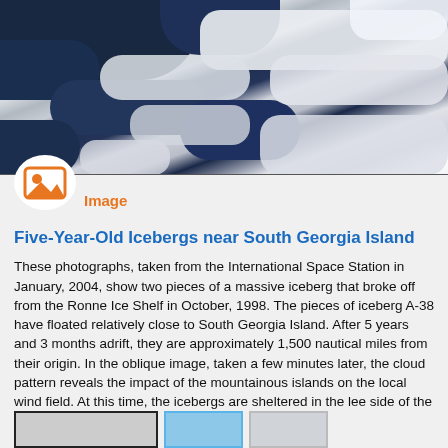[Figure (photo): Aerial/satellite photo from International Space Station showing icebergs near South Georgia Island, with deep blue ocean and white cloud formations.]
Image
Five-Year-Old Icebergs near South Georgia Island
These photographs, taken from the International Space Station in January, 2004, show two pieces of a massive iceberg that broke off from the Ronne Ice Shelf in October, 1998. The pieces of iceberg A-38 have floated relatively close to South Georgia Island. After 5 years and 3 months adrift, they are approximately 1,500 nautical miles from their origin. In the oblique image, taken a few minutes later, the cloud pattern reveals the impact of the mountainous islands on the local wind field. At this time, the icebergs are sheltered in the lee side of the island.
Published Jan 26, 2004
[Figure (photo): Thumbnail images at bottom of page showing additional views.]